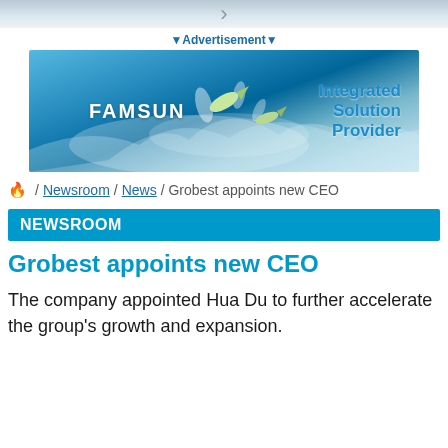[Figure (other): Top bar with chevron/arrow navigation element]
▼Advertisement▼
[Figure (illustration): FAMSUN advertisement banner showing fish jumping out of water with text 'Integrated Solution Provider']
🔥 / Newsroom / News / Grobest appoints new CEO
NEWSROOM
Grobest appoints new CEO
The company appointed Hua Du to further accelerate the group's growth and expansion.